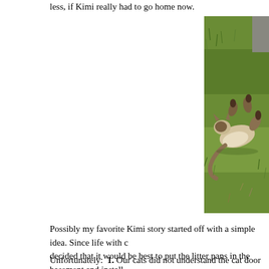less, if Kimi really had to go home now.
[Figure (photo): A Siamese cat rolling on its back on green grass, with paws in the air, viewed from behind/side.]
Possibly my favorite Kimi story started off with a simple idea. Since life with c... decided that it would be best to put the litter pans in the basement and install... door that had a release triggered by magnets on the cats' collars.
Unfortunately:  1. Our cats did not understand the cat door and 2. No amount...